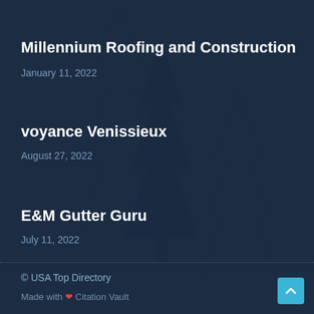Millennium Roofing and Construction
January 11, 2022
voyance Venissieux
August 27, 2022
E&M Gutter Guru
July 11, 2022
© USA Top Directory
Made with ❤ Citation Vault